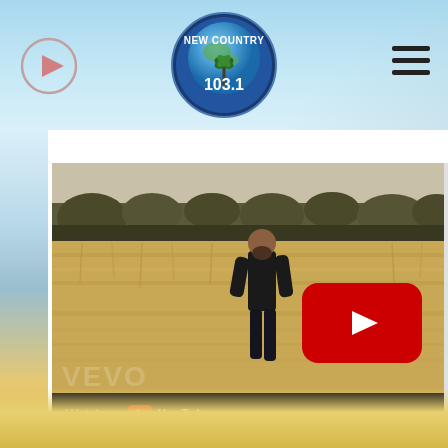[Figure (screenshot): Website header for New Country 103.1 radio station with blue sky gradient background, play button icon on left, station logo in center, hamburger menu on right]
[Figure (screenshot): YouTube embedded video thumbnail showing a man standing in a golden wheat field with trees in background. Red YouTube play button overlay in center-right. VEVO watermark visible. 'Watch on YouTube' bar at bottom.]